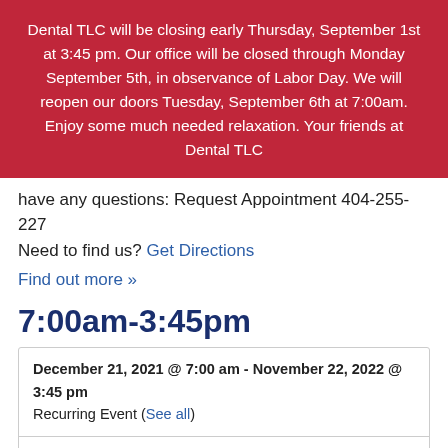Dental TLC will be closing early Thursday, September 1st at 3:45 pm. Our office will be closed through Monday September 5th, in observance of Labor Day. We will reopen our doors Tuesday, September 6th at 7:00am. Enjoy some much needed relaxation. Your friends at Dental TLC
have any questions: Request Appointment 404-255-227
Need to find us? Get Directions
Find out more »
7:00am-3:45pm
| December 21, 2021 @ 7:00 am - November 22, 2022 @ 3:45 pm | Recurring Event (See all) |
| 290 Hilderbrand Dr #9
Sandy Springs, GA 30328 United States
+ Google Map |  |